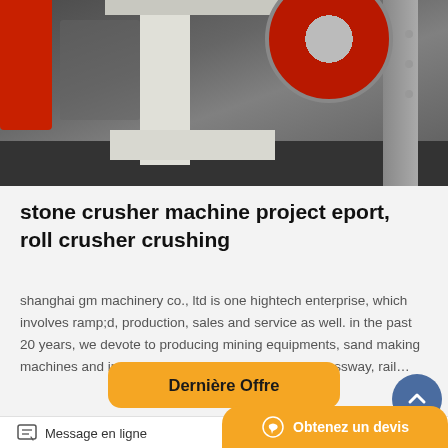[Figure (photo): Industrial stone crusher machine in a factory, white machine body with red wheel visible, red components on left, gray frame on right, dark concrete floor]
stone crusher machine project eport, roll crusher crushing
shanghai gm machinery co., ltd is one hightech enterprise, which involves ramp;d, production, sales and service as well. in the past 20 years, we devote to producing mining equipments, sand making machines and industrial grinding mills, offering expressway, rail…
Dernière Offre
[Figure (photo): Industrial machinery conveyor belt or equipment with yellow/gold lighting panels visible, warm amber tones]
Message en ligne
Obtenez un devis